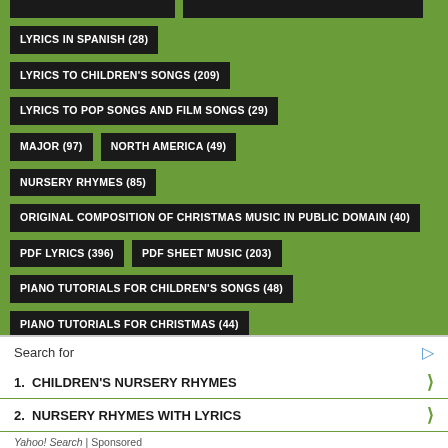LYRICS IN SPANISH (28)
LYRICS TO CHILDREN'S SONGS (209)
LYRICS TO POP SONGS AND FILM SONGS (29)
MAJOR (97)
NORTH AMERICA (49)
NURSERY RHYMES (85)
ORIGINAL COMPOSITION OF CHRISTMAS MUSIC IN PUBLIC DOMAIN (40)
PDF LYRICS (396)
PDF SHEET MUSIC (203)
PIANO TUTORIALS FOR CHILDREN'S SONGS (48)
PIANO TUTORIALS FOR CHRISTMAS (44)
Search for
1. CHILDREN'S NURSERY RHYMES
2. NURSERY RHYMES WITH LYRICS
Yahoo! Search | Sponsored